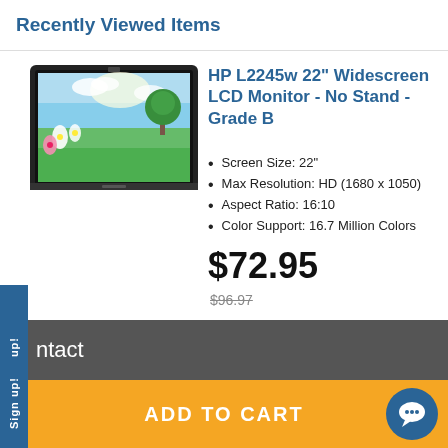Recently Viewed Items
[Figure (photo): HP L2245w 22-inch widescreen LCD monitor with black bezel, displaying a nature wallpaper with flowers, sky, and green field]
HP L2245w 22" Widescreen LCD Monitor - No Stand - Grade B
Screen Size: 22"
Max Resolution: HD (1680 x 1050)
Aspect Ratio: 16:10
Color Support: 16.7 Million Colors
$72.95
$96.97
ntact
ADD TO CART